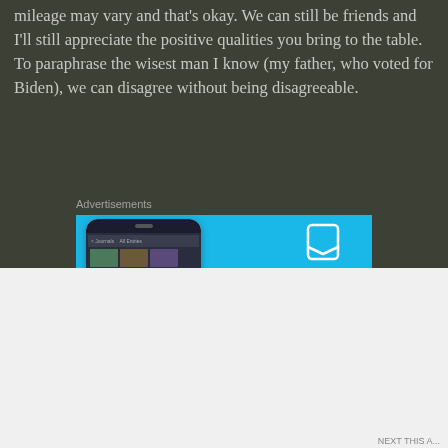mileage may vary and that's okay. We can still be friends and I'll still appreciate the positive qualities you bring to the table. To paraphrase the wisest man I know (my father, who voted for Biden), we can disagree without being disagreeable.
Advertisements
[Figure (illustration): DayOne app advertisement on bright blue background. Shows phone mockup with journal app interface on the left, and DayOne branding with bookmark icon, 'DAYONE' text, and 'Your Journal for life' tagline on the right.]
Advertisements
[Figure (illustration): Dark advertisement banner reading 'Create surveys, polls, quizzes, and forms.' with WordPress logo and Jetpack badge on dark starfield background.]